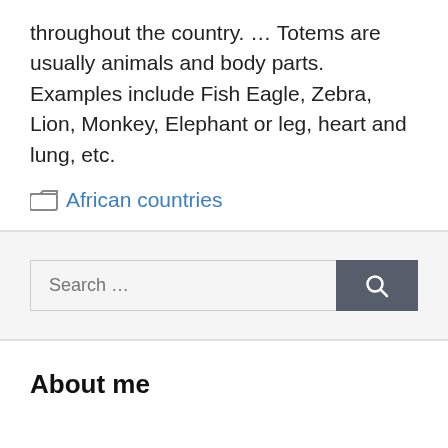throughout the country. … Totems are usually animals and body parts. Examples include Fish Eagle, Zebra, Lion, Monkey, Elephant or leg, heart and lung, etc.
African countries
[Figure (other): Search bar with text field 'Search …' and a dark grey search button with magnifying glass icon]
About me